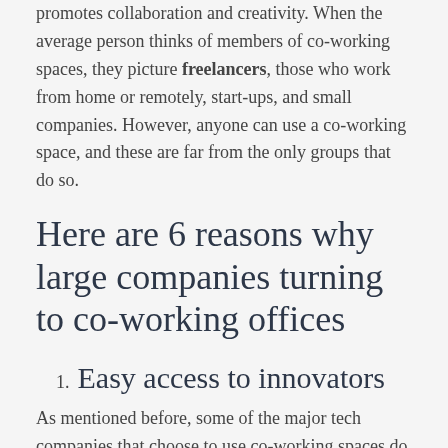promotes collaboration and creativity. When the average person thinks of members of co-working spaces, they picture freelancers, those who work from home or remotely, start-ups, and small companies. However, anyone can use a co-working space, and these are far from the only groups that do so.
Here are 6 reasons why large companies turning to co-working offices
1. Easy access to innovators
As mentioned before, some of the major tech companies that choose to use co-working spaces do so to get closer to innovators in the field. Because co-working spaces tend to have a social and collaborative element in addition to the features of a traditional office in a more relaxing atmosphere, it becomes natural to interact with others. This gives large corporations access to start-ups with